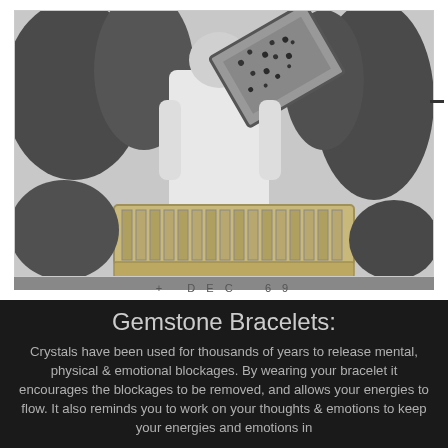[Figure (photo): Black and white photograph of a beekeeper in white protective clothing lifting a frame covered in bees from a wooden hive box. Surrounding vegetation visible in the background. Bottom of the photo mount shows '+ DEC 69'.]
+ DEC 69
Gemstone Bracelets:
Crystals have been used for thousands of years to release mental, physical & emotional blockages. By wearing your bracelet it encourages the blockages to be removed, and allows your energies to flow. It also reminds you to work on your thoughts & emotions to keep your energies and emotions in